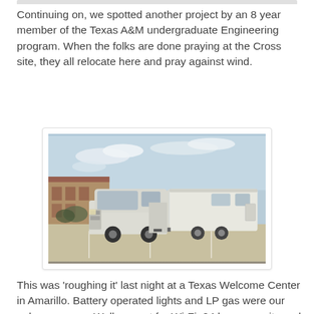Continuing on, we spotted another project by an 8 year member of the Texas A&M undergraduate Engineering program. When the folks are done praying at the Cross site, they all relocate here and pray against wind.
[Figure (photo): A white pickup truck towing a large white fifth-wheel RV trailer in a parking lot. There is a building in the background and a partly cloudy sky.]
This was 'roughing it' last night at a Texas Welcome Center in Amarillo. Battery operated lights and LP gas were our only resources. Well, except for Wi-Fi, 24 hour security and beautiful restrooms. Awoke to temps around 42 degs this morning, but the Fiver was a toasty 52 degrees. Yeah, I